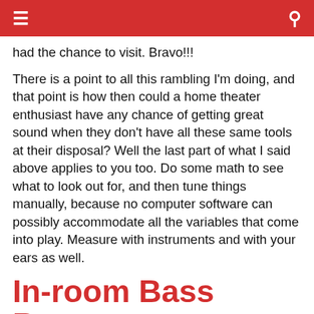≡   🔍
had the chance to visit. Bravo!!!
There is a point to all this rambling I'm doing, and that point is how then could a home theater enthusiast have any chance of getting great sound when they don't have all these same tools at their disposal? Well the last part of what I said above applies to you too. Do some math to see what to look out for, and then tune things manually, because no computer software can possibly accommodate all the variables that come into play. Measure with instruments and with your ears as well.
In-room Bass Response
The focus of this article is to concentrate on the bass response in my room which will, in some ways, correlate with your theater space. In the case of this experiment, we are only concerning ourselves with the bass to res...